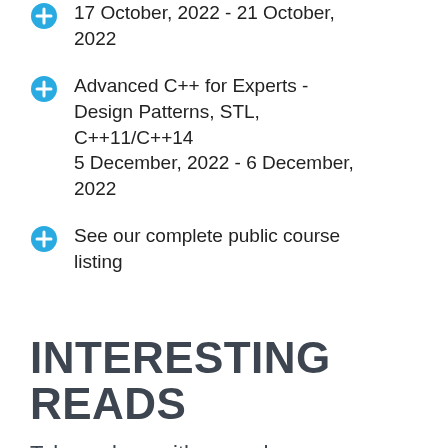17 October, 2022 - 21 October, 2022
Advanced C++ for Experts - Design Patterns, STL, C++11/C++14
5 December, 2022 - 6 December, 2022
See our complete public course listing
INTERESTING READS
Take a class with us and receive a book of your